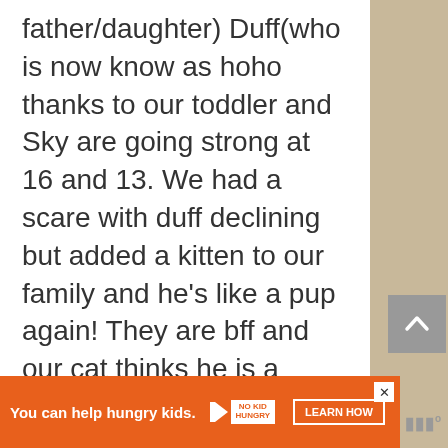father/daughter) Duff(who is now know as hoho thanks to our toddler and Sky are going strong at 16 and 13. We had a scare with duff declining but added a kitten to our family and he's like a pup again! They are bff and our cat thinks he is a doxie too.
Reply
[Figure (other): Orange advertisement banner reading 'You can help hungry kids.' with No Kid Hungry logo and a 'Learn How' button]